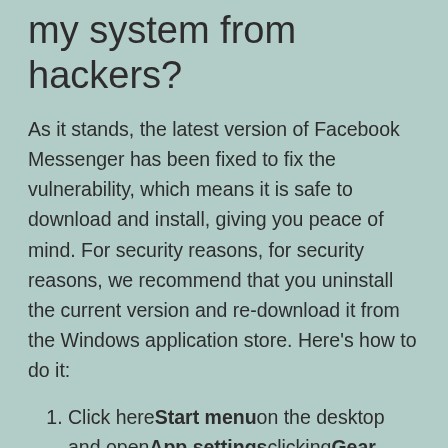my system from hackers?
As it stands, the latest version of Facebook Messenger has been fixed to fix the vulnerability, which means it is safe to download and install, giving you peace of mind. For security reasons, for security reasons, we recommend that you uninstall the current version and re-download it from the Windows application store. Here’s how to do it:
Click here Start menu on the desktop and open App settings clicking Gear icon
Click here App